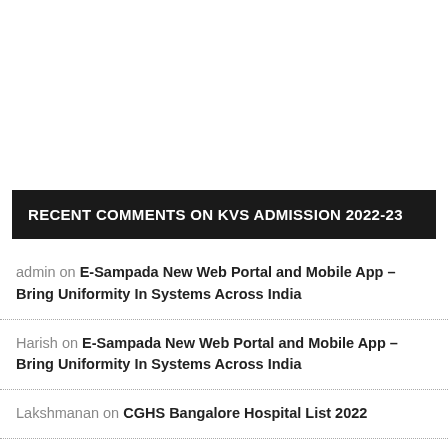RECENT COMMENTS ON KVS ADMISSION 2022-23
admin on E-Sampada New Web Portal and Mobile App – Bring Uniformity In Systems Across India
Harish on E-Sampada New Web Portal and Mobile App – Bring Uniformity In Systems Across India
Lakshmanan on CGHS Bangalore Hospital List 2022
admin on NLTS of Current Block of 4 Year 2018-2021